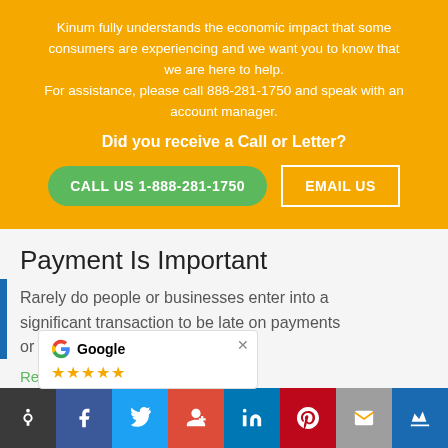Kinum fully understands the economic impact that some consumers are experiencing and we want you to know that we are here to help. For assistance, please call 888-281-1750 and speak with an account manager.
Did you receive a Call or Letter?
CALL US 1-888-281-1750
EMAIL US
Payment Is Important
Rarely do people or businesses enter into a significant transaction to be late on payments or not pay at...
Read more ›
[Figure (screenshot): Google review popup showing G logo, Google text, and star rating]
[Figure (infographic): Social share bar with accessibility, Facebook, Twitter, Google+, LinkedIn, Pinterest, Email, and Crown icons]